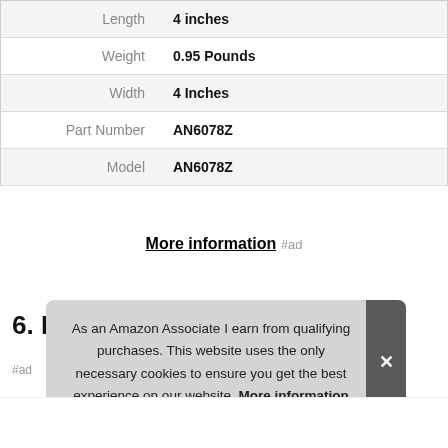| Attribute | Value |
| --- | --- |
| Length | 4 inches |
| Weight | 0.95 Pounds |
| Width | 4 Inches |
| Part Number | AN6078Z |
| Model | AN6078Z |
More information #ad
6. Fun Gift
#ad
As an Amazon Associate I earn from qualifying purchases. This website uses the only necessary cookies to ensure you get the best experience on our website. More information